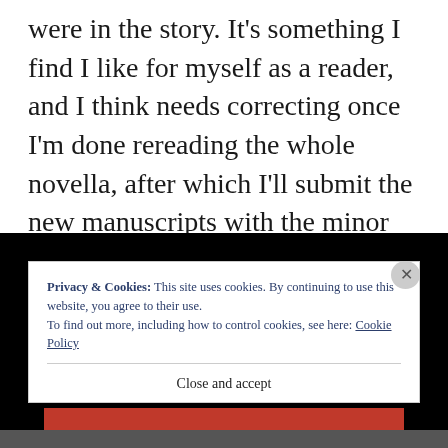were in the story. It's something I find I like for myself as a reader, and I think needs correcting once I'm done rereading the whole novella, after which I'll submit the new manuscripts with the minor notations as a minor updated version.
[Figure (screenshot): Cookie consent overlay on a dark background, showing privacy notice text with a 'Cookie Policy' link, a close X button, a 'Close and accept' button, and a red bar below.]